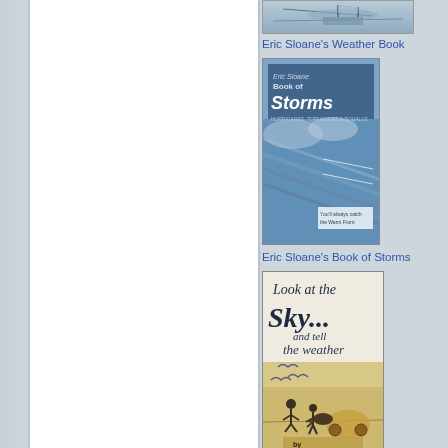[Figure (photo): Left white panel area with light blue/grey gradient background]
[Figure (photo): Book cover: Eric Sloane's Weather Book - top portion visible showing maritime scene]
Eric Sloane's Weather Book
[Figure (photo): Book cover: Eric Sloane's Book of Storms - blue cover with storm imagery and diagrams]
Eric Sloane's Book of Storms
[Figure (photo): Book cover: Look at the Sky... and Tell the Weather by Eric Sloane - tan/gold cover with illustrated figures]
Look at the Sky... and Tell the
History